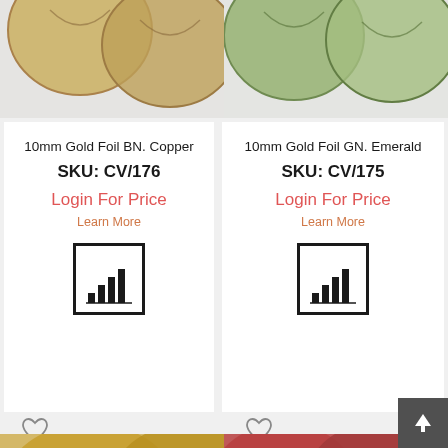[Figure (photo): Partial view of gold-toned decorative beads, cropped at top, left product column]
[Figure (photo): Partial view of green/gold decorative beads, cropped at top, right product column]
10mm Gold Foil BN. Copper
SKU: CV/176
Login For Price
Learn More
[Figure (infographic): Bar chart icon in black square border, representing stock/quantity chart]
10mm Gold Foil GN. Emerald
SKU: CV/175
Login For Price
Learn More
[Figure (infographic): Bar chart icon in black square border, representing stock/quantity chart]
[Figure (illustration): Heart/wishlist outline icon, left column]
[Figure (illustration): Heart/wishlist outline icon, right column]
[Figure (photo): Partial view of gold/brown decorative beads at bottom, left column]
[Figure (photo): Partial view of red/brown decorative beads at bottom, right column]
[Figure (illustration): Scroll to top button with upward arrow, dark gray background, lower right corner]